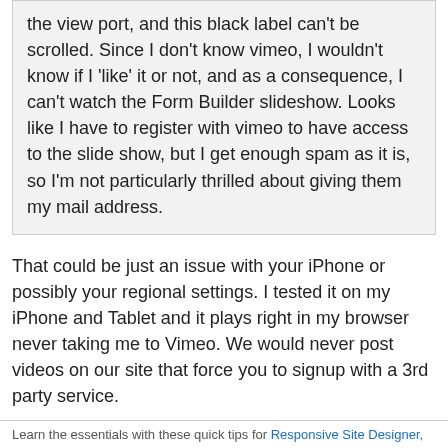the view port, and this black label can't be scrolled. Since I don't know vimeo, I wouldn't know if I 'like' it or not, and as a consequence, I can't watch the Form Builder slideshow. Looks like I have to register with vimeo to have access to the slide show, but I get enough spam as it is, so I'm not particularly thrilled about giving them my mail address.
That could be just an issue with your iPhone or possibly your regional settings. I tested it on my iPhone and Tablet and it plays right in my browser never taking me to Vimeo. We would never post videos on our site that force you to signup with a 3rd party service.
Here is what I see:
http://www.coffeecup.com/files/forums/vimeo.PNG
Learn the essentials with these quick tips for Responsive Site Designer,